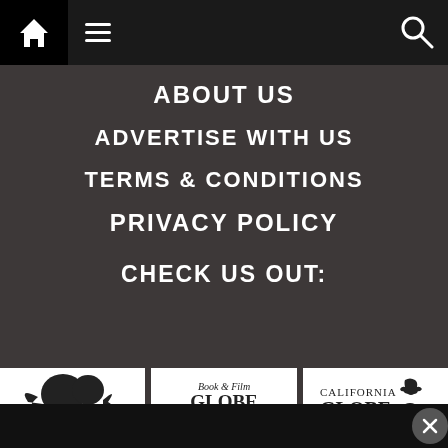Navigation bar with home, menu, and search icons
ABOUT US
ADVERTISE WITH US
TERMS & CONDITIONS
PRIVACY POLICY
CHECK US OUT:
[Figure (logo): audiohopper logo - dark silhouette of a person with audio waves, text reads audiohopper]
[Figure (logo): Book & Film Globe logo with book, ticket and globe icons]
[Figure (logo): California Globe logo with bear and globe icons]